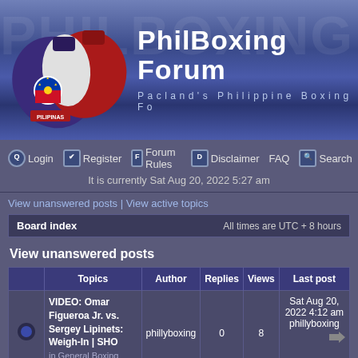[Figure (illustration): PhilBoxing Forum banner with Philippine boxing gloves (red, white, blue with Philippine flag) on left, large bold white text 'PhilBoxing Forum' and subtitle 'Pacland's Philippine Boxing Fo...' on right, dark blue gradient background with faint PHILBOXING watermark text]
Login | Register | Forum Rules | Disclaimer | FAQ | Search
It is currently Sat Aug 20, 2022 5:27 am
View unanswered posts | View active topics
| Board index | All times are UTC + 8 hours |
| --- | --- |
View unanswered posts
|  | Topics | Author | Replies | Views | Last post |
| --- | --- | --- | --- | --- | --- |
| [icon] | VIDEO: Omar Figueroa Jr. vs. Sergey Lipinets: Weigh-In | SHO
in General Boxing Discussion / World | phillyboxing | 0 | 8 | Sat Aug 20, 2022 4:12 am
phillyboxing |